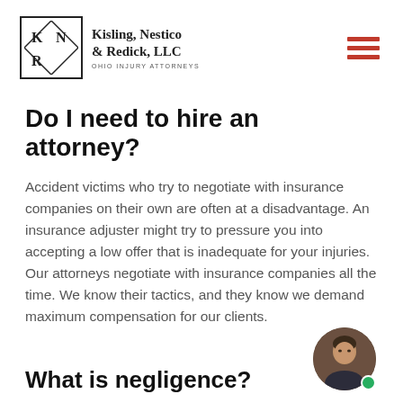Kisling, Nestico & Redick, LLC — OHIO INJURY ATTORNEYS
Do I need to hire an attorney?
Accident victims who try to negotiate with insurance companies on their own are often at a disadvantage. An insurance adjuster might try to pressure you into accepting a low offer that is inadequate for your injuries. Our attorneys negotiate with insurance companies all the time. We know their tactics, and they know we demand maximum compensation for our clients.
What is negligence?
[Figure (photo): Circular headshot portrait of a man in a suit, with a green online-indicator dot at bottom right.]